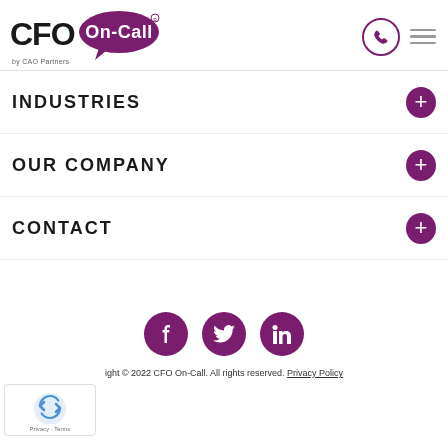CFO On-Call by CAO Partners
INDUSTRIES
OUR COMPANY
CONTACT
ight © 2022 CFO On-Call. All rights reserved. Privacy Policy